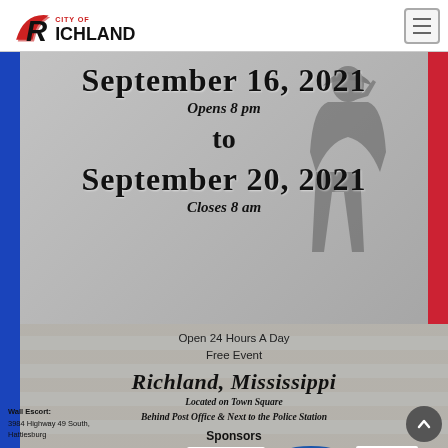City of Richland
September 16, 2021
Opens 8 pm
to
September 20, 2021
Closes 8 am
Open 24 Hours A Day
Free Event
Richland, Mississippi
Located on Town Square
Behind Post Office & Next to the Police Station
Sponsors
[Figure (logo): BancorpSouth, Holmes Community for Education (Ridgeland MS), TempStaff sponsor logos]
Wall Escort:
3984 Highway 49 South,
Hattiesburg